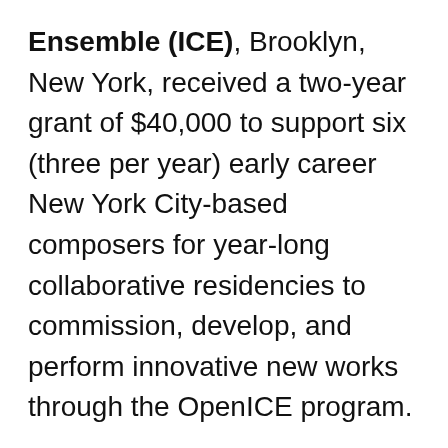Ensemble (ICE), Brooklyn, New York, received a two-year grant of $40,000 to support six (three per year) early career New York City-based composers for year-long collaborative residencies to commission, develop, and perform innovative new works through the OpenICE program.
The Jazz Gallery, New York City, received a two-year grant of $80,000 for the Residency